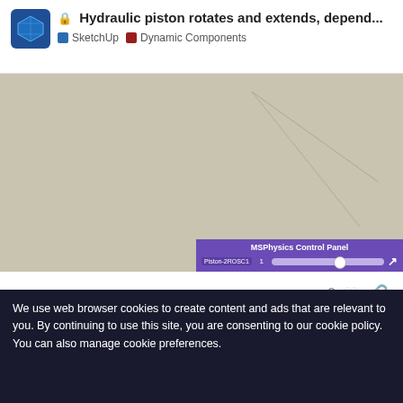Hydraulic piston rotates and extends, depend... | SketchUp | Dynamic Components
[Figure (screenshot): SketchUp canvas showing diagonal lines representing a hydraulic piston, with MSPhysics Control Panel overlay showing 'Piston-2ROSC1' slider]
2 ♡ 🔗
tpdes  Feb '18
@ecati Yes, pretty much. Thanks.
But the leg piston should extend as shown in my illustration.
We use web browser cookies to create content and ads that are relevant to you. By continuing to use this site, you are consenting to our cookie policy. You can also manage cookie preferences.